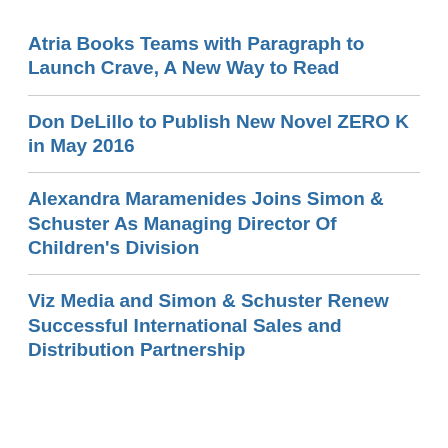Atria Books Teams with Paragraph to Launch Crave, A New Way to Read
Don DeLillo to Publish New Novel ZERO K in May 2016
Alexandra Maramenides Joins Simon & Schuster As Managing Director Of Children's Division
Viz Media and Simon & Schuster Renew Successful International Sales and Distribution Partnership